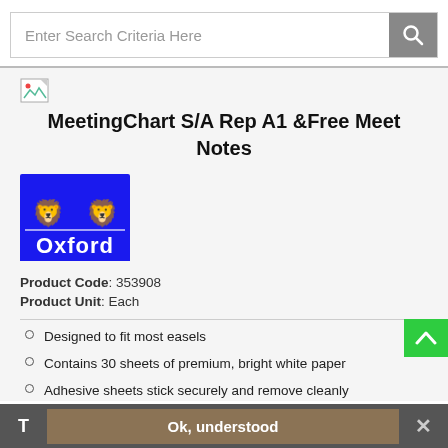Enter Search Criteria Here
MeetingChart S/A Rep A1 &Free Meet Notes
[Figure (logo): Oxford brand logo — blue rectangle with white text 'Oxford' and two lion heraldic figures above]
Product Code: 353908
Product Unit: Each
Designed to fit most easels
Contains 30 sheets of premium, bright white paper
Adhesive sheets stick securely and remove cleanly
Ok, understood